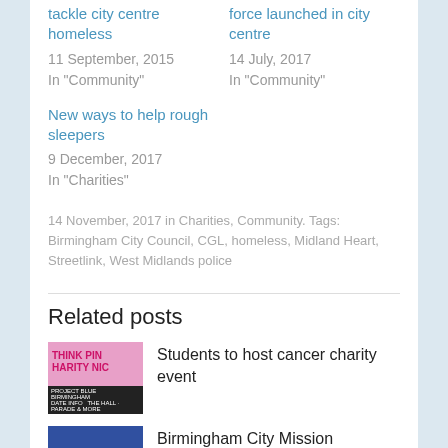tackle city centre homeless
11 September, 2015
In "Community"
force launched in city centre
14 July, 2017
In "Community"
New ways to help rough sleepers
9 December, 2017
In "Charities"
14 November, 2017 in Charities, Community. Tags: Birmingham City Council, CGL, homeless, Midland Heart, Streetlink, West Midlands police
Related posts
Students to host cancer charity event
[Figure (photo): Pink charity night event flyer thumbnail with text THINK PINK and CHARITY NIGHT]
Birmingham City Mission launches Sleepout
[Figure (photo): Dark blue sleepout event image thumbnail]